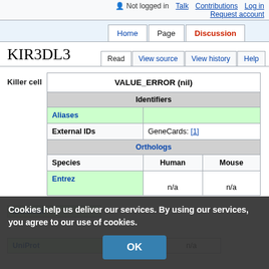Not logged in  Talk  Contributions  Log in  Request account
Home  Page  Discussion  Read  View source  View history  Help
KIR3DL3
Killer cell
|  | VALUE_ERROR (nil) |
| --- | --- |
| Identifiers |  |
| Aliases |  |
| External IDs | GeneCards: [1] |
| Orthologs |  |
| Species | Human | Mouse |
| Entrez | n/a | n/a |
| Ensembl | n/a | n/a |
| UniProt | n/a | n/a |
Cookies help us deliver our services. By using our services, you agree to our use of cookies.